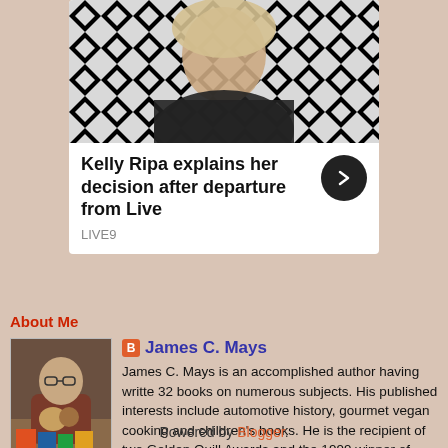[Figure (photo): Photo of Kelly Ripa with black and white diamond pattern background, cropped at top of page]
Kelly Ripa explains her decision after departure from Live
LIVE9
About Me
[Figure (photo): Profile photo of James C. Mays, older man with glasses holding stuffed animals, seated at a table with books]
James C. Mays
James C. Mays is an accomplished author having writte 32 books on numerous subjects. His published interests include automotive history, gourmet vegan cooking and children's books. He is the recipient of two Golden Quill Awards and the 1999 winner of Vogue magazine's Millennium Foodand Beverage Award.
http://en.wikipedia.org/wiki/James_C._Mays_(automotive_historian)
View my complete profile
Powered by Blogger.